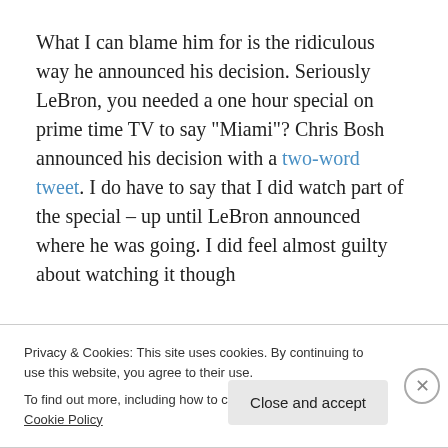What I can blame him for is the ridiculous way he announced his decision. Seriously LeBron, you needed a one hour special on prime time TV to say "Miami"? Chris Bosh announced his decision with a two-word tweet. I do have to say that I did watch part of the special – up until LeBron announced where he was going. I did feel almost guilty about watching it though
Privacy & Cookies: This site uses cookies. By continuing to use this website, you agree to their use.
To find out more, including how to control cookies, see here: Cookie Policy